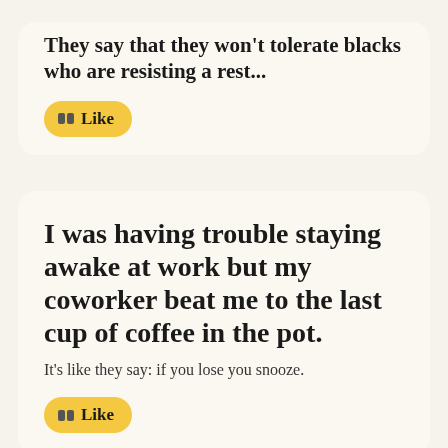They say that they won't tolerate blacks who are resisting a rest...
Like
I was having trouble staying awake at work but my coworker beat me to the last cup of coffee in the pot.
It's like they say: if you lose you snooze.
Like
There was a man who would stay